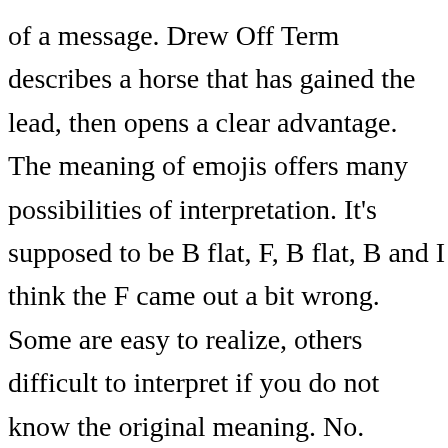of a message. Drew Off Term describes a horse that has gained the lead, then opens a clear advantage. The meaning of emojis offers many possibilities of interpretation. It's supposed to be B flat, F, B flat, B and I think the F came out a bit wrong. Some are easy to realize, others difficult to interpret if you do not know the original meaning. No. Synonym Discussion of underhanded. And according to Carter, it still does. The word ham denotes the part of the hindquarters of a pig or similar animal between the hock and the hip,